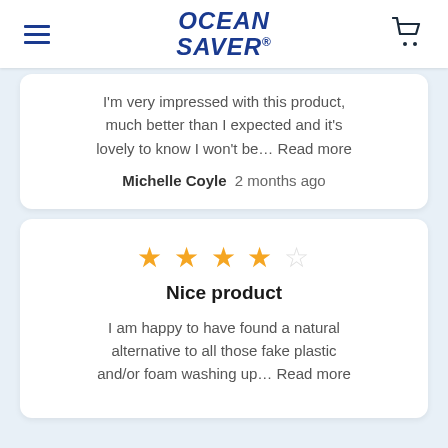OCEAN SAVER
I'm very impressed with this product, much better than I expected and it's lovely to know I won't be... Read more
Michelle Coyle  2 months ago
[Figure (other): 4 out of 5 stars rating]
Nice product
I am happy to have found a natural alternative to all those fake plastic and/or foam washing up... Read more